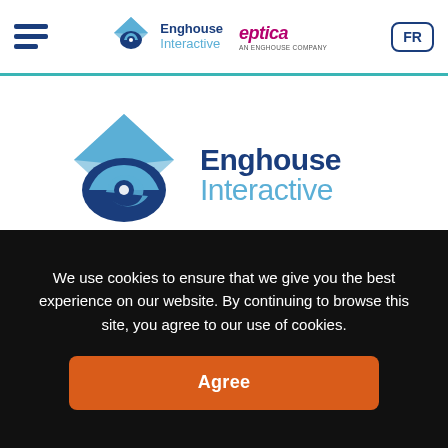[Figure (logo): Enghouse Interactive and Eptica logos in navigation header with hamburger menu and FR language button]
[Figure (logo): Large Enghouse Interactive logo with blue diamond/eye icon and two-tone blue text]
We use cookies to ensure that we give you the best experience on our website. By continuing to browse this site, you agree to our use of cookies.
Agree